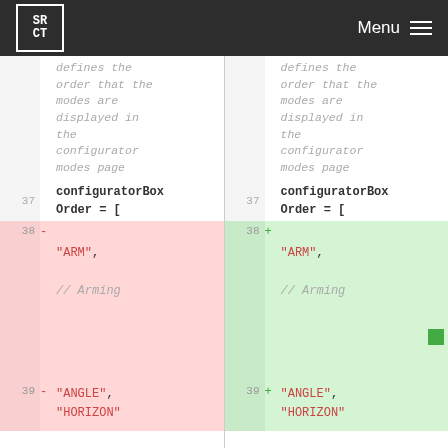SRCT | Menu
| line (left) | sign | code (left) | line (right) | sign | code (right) |
| --- | --- | --- | --- | --- | --- |
|  |  | defines the order that the modes are displayed in the configurator modes page |  |  | defines the order that the modes are displayed in the configurator modes page |
| 37 |  | configuratorBoxOrder = [ | 37 |  | configuratorBoxOrder = [ |
| 38 | - | "ARM", | 38 | + | "ARM", |
|  |  | // Arming |  |  | // Arming |
| 39 | - | "ANGLE", | 39 | + | "ANGLE", |
|  |  | "HORIZON" |  |  | "HORIZON" |